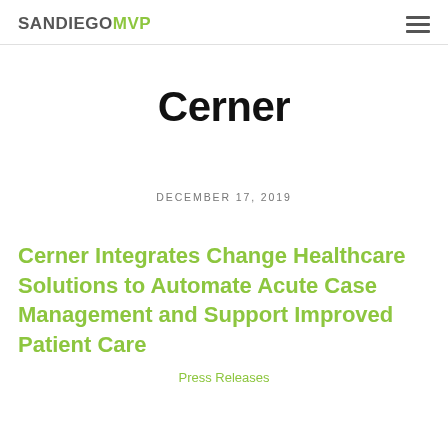SANDIEGOMVP
Cerner
DECEMBER 17, 2019
Cerner Integrates Change Healthcare Solutions to Automate Acute Case Management and Support Improved Patient Care
Press Releases